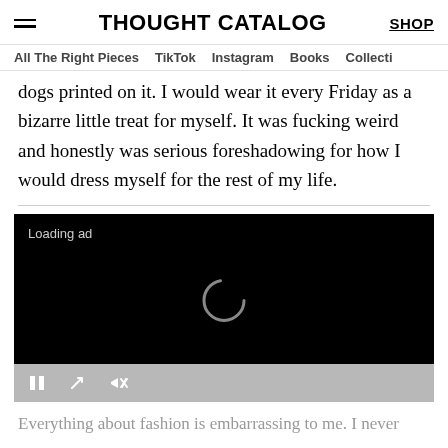THOUGHT CATALOG | SHOP
All The Right Pieces  TikTok  Instagram  Books  Collecti
dogs printed on it. I would wear it every Friday as a bizarre little treat for myself. It was fucking weird and honestly was serious foreshadowing for how I would dress myself for the rest of my life.
[Figure (other): Black video ad player loading screen with spinner icon and playback controls (pause, fullscreen, mute), showing 'Loading ad' text]
Everything about fashion is embarrassing to me. I never